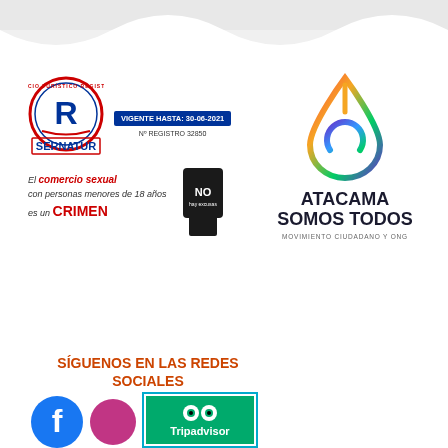[Figure (logo): SERNATUR - Servicio Turístico Registrado circular badge with R letter, blue and red colors, with VIGENTE HASTA: 30-06-2021 and Nº REGISTRO 32850]
[Figure (logo): Atacama Somos Todos - Movimiento Ciudadano y ONG logo with colorful water drop / flame icon in red, orange, green, blue, purple gradient]
[Figure (infographic): Anti child sexual commerce message: El comercio sexual con personas menores de 18 años es un CRIMEN, with NO hay excusas hand symbol]
SÍGUENOS EN LAS REDES SOCIALES
[Figure (logo): Social media icons: Facebook, and Tripadvisor logo on green background]